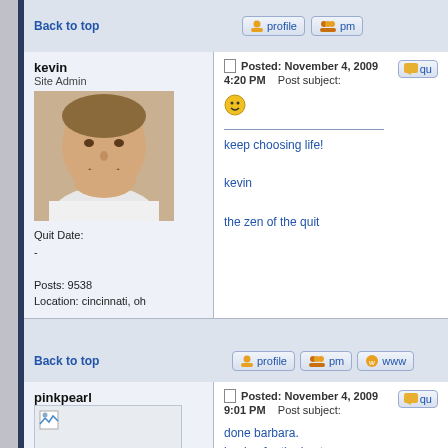Back to top
kevin
Site Admin
Quit Date:
-
Posts: 9538
Location: cincinnati, oh
Posted: November 4, 2009 4:20 PM    Post subject:

[smiley face]

keep choosing life!

kevin

the zen of the quit
Back to top
pinkpearl
Quit Date:
June 30, 2007
Posted: November 4, 2009 9:01 PM    Post subject:

done barbara.
hoping for the best.

My avatars name is moon ray